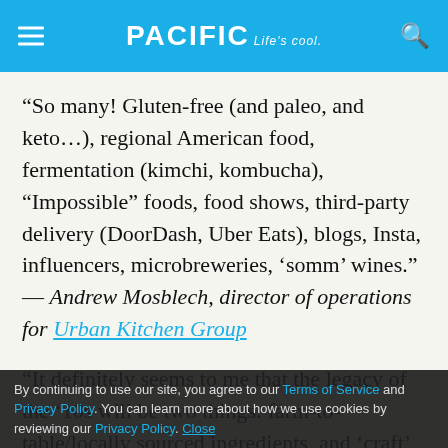PACIFIC Life's cool.
“So many! Gluten-free (and paleo, and keto…), regional American food, fermentation (kimchi, kombucha), “Impossible” foods, food shows, third-party delivery (DoorDash, Uber Eats), blogs, Insta, influencers, microbreweries, ‘somm’ wines.” — Andrew Mosblech, director of operations for Urban Kitchen Group
“It definitely seems to me that the legacy of the ’10s will be two things: farm-to-table/locally sourced ingredients, and ‘craft’ cocktails. Unfortunately, both of those terms are so often applied erroneously that they are at risk of losing their real meaning, but I think enough operators are doing it right, that they are here to
By continuing to use our site, you agree to our Terms of Service and Privacy Policy. You can learn more about how we use cookies by reviewing our Privacy Policy. Close